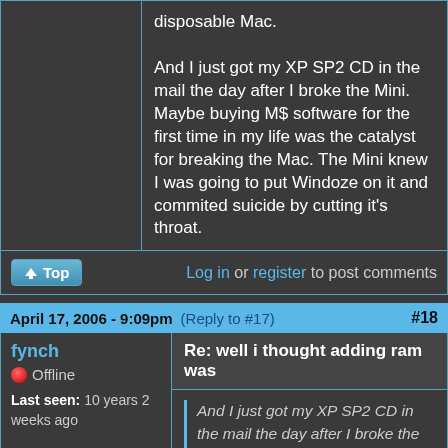disposable Mac.

And I just got my XP SP2 CD in the mail the day after I broke the Mini. Maybe buying M$ software for the first time in my life was the catalyst for breaking the Mac. The Mini knew I was going to put Windoze on it and commited suicide by cutting it's throat.
Top | Log in or register to post comments
April 17, 2006 - 9:09pm (Reply to #17) #18
fynch
Offline
Last seen: 10 years 2 weeks ago
Joined: Jan 28 2005 - 17:56
Re: well i thought adding ram was
And I just got my XP SP2 CD in the mail the day after I broke the Mini. Maybe buying M$ software for the first time in my life was the catalyst...